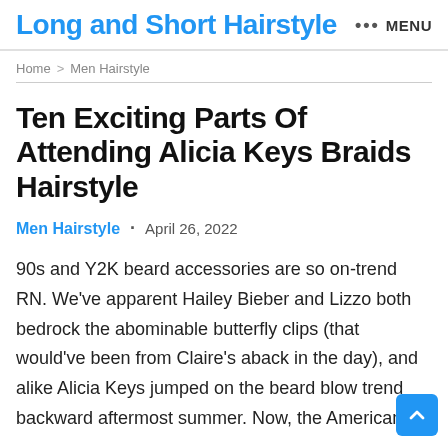Long and Short Hairstyle  ••• MENU
Home > Men Hairstyle
Ten Exciting Parts Of Attending Alicia Keys Braids Hairstyle
Men Hairstyle · April 26, 2022
90s and Y2K beard accessories are so on-trend RN. We've apparent Hailey Bieber and Lizzo both bedrock the abominable butterfly clips (that would've been from Claire's aback in the day), and alike Alicia Keys jumped on the beard blow trend backward aftermost summer. Now, the American